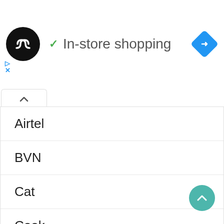[Figure (logo): Black circular logo with two overlapping arrow/infinity symbols in white]
✓ In-store shopping
[Figure (other): Blue diamond-shaped navigation/direction icon with white arrow pointing right]
[Figure (other): Small play and close (X) icons in blue]
[Figure (other): Collapse/chevron-up tab button]
Airtel
BVN
Cat
Cook
Data
Dog
[Figure (other): Teal/green circular FAB button with white chevron-up arrow]